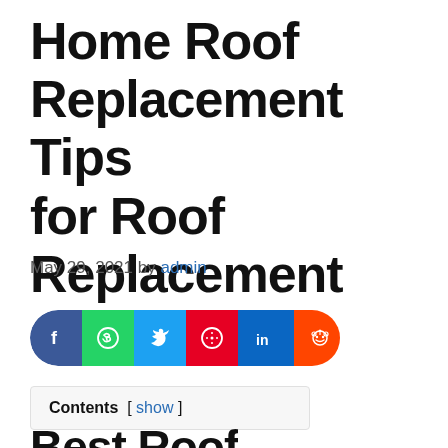Home Roof Replacement Tips for Roof Replacement
May 29, 2021 by admin
[Figure (infographic): Social media share buttons bar: Facebook, WhatsApp, Twitter, Pinterest, LinkedIn, Reddit]
Contents [ show ]
Best Roof